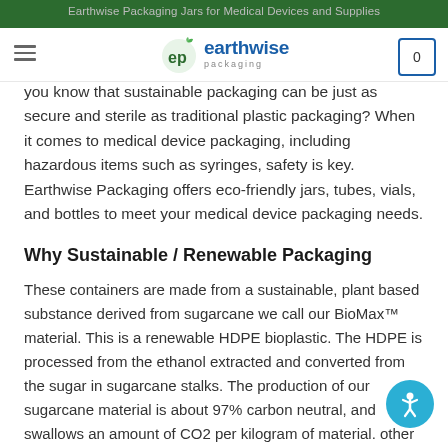Earthwise Packaging Jars for Medical Devices and Supplies
[Figure (logo): Earthwise Packaging logo with green leaf 'ep' emblem and blue wordmark]
you know that sustainable packaging can be just as secure and sterile as traditional plastic packaging? When it comes to medical device packaging, including hazardous items such as syringes, safety is key. Earthwise Packaging offers eco-friendly jars, tubes, vials, and bottles to meet your medical device packaging needs.
Why Sustainable / Renewable Packaging
These containers are made from a sustainable, plant based substance derived from sugarcane we call our BioMax™ material. This is a renewable HDPE bioplastic. The HDPE is processed from the ethanol extracted and converted from the sugar in sugarcane stalks. The production of our sugarcane material is about 97% carbon neutral, and swallows an amount of CO2 per kilogram of material. other benefit of these containers is that they are 100%